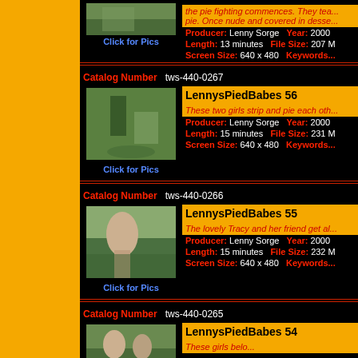the pie fighting commences. They tea... pie. Once nude and covered in desse...
Producer: Lenny Sorge   Year: 2000   Length: 13 minutes   File Size: 207 M   Screen Size: 640 x 480   Keywords...
[Figure (photo): Thumbnail photo for LennysPiedBabes 56]
Click for Pics
Catalog Number  tws-440-0267
LennysPiedBabes 56
These two girls strip and pie each oth...
Producer: Lenny Sorge   Year: 2000   Length: 15 minutes   File Size: 231 M   Screen Size: 640 x 480   Keywords...
[Figure (photo): Thumbnail photo for LennysPiedBabes 55]
Click for Pics
Catalog Number  tws-440-0266
LennysPiedBabes 55
The lovely Tracy and her friend get al...
Producer: Lenny Sorge   Year: 2000   Length: 15 minutes   File Size: 232 M   Screen Size: 640 x 480   Keywords...
[Figure (photo): Thumbnail photo for LennysPiedBabes 54]
Click for Pics
Catalog Number  tws-440-0265
LennysPiedBabes 54
These girls belo...